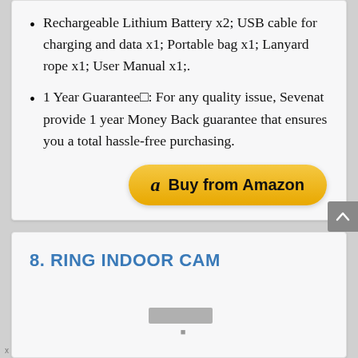Rechargeable Lithium Battery x2; USB cable for charging and data x1; Portable bag x1; Lanyard rope x1; User Manual x1;.
1 Year Guarantee□: For any quality issue, Sevenat provide 1 year Money Back guarantee that ensures you a total hassle-free purchasing.
[Figure (other): Buy from Amazon button with Amazon logo]
8. RING INDOOR CAM
[Figure (photo): Partial product image, mostly cut off at bottom of page]